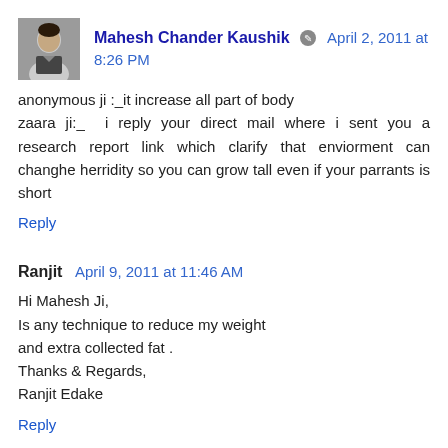[Figure (photo): Avatar photo of Mahesh Chander Kaushik, a man in a suit]
Mahesh Chander Kaushik  April 2, 2011 at 8:26 PM
anonymous ji :_it increase all part of body zaara ji:_ i reply your direct mail where i sent you a research report link which clarify that enviorment can changhe herridity so you can grow tall even if your parrants is short
Reply
Ranjit  April 9, 2011 at 11:46 AM
Hi Mahesh Ji,
Is any technique to reduce my weight and extra collected fat .
Thanks & Regards,
Ranjit Edake
Reply
Anonymous  April 21, 2011 at 10:56 AM